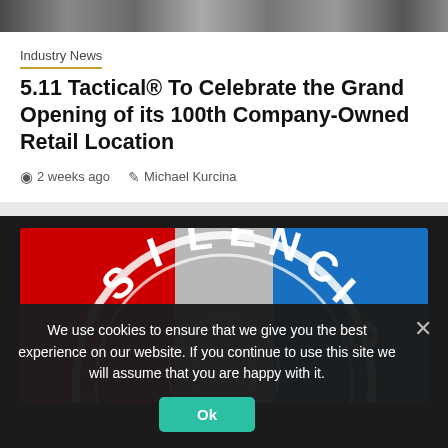[Figure (photo): Horizontal strip photo of retail/tactical store interior]
Industry News
5.11 Tactical® To Celebrate the Grand Opening of its 100th Company-Owned Retail Location
2 weeks ago   Michael Kurcina
[Figure (logo): Silencio logo — circular badge with red, gray, and blue tricolor background]
We use cookies to ensure that we give you the best experience on our website. If you continue to use this site we will assume that you are happy with it.